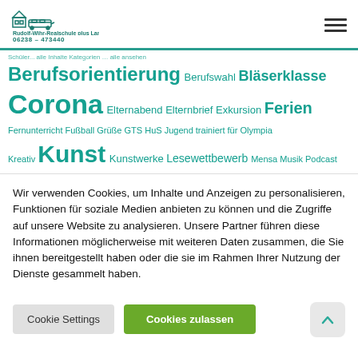Rudolf-Wihr-Realschule plus Lambsheim 06238 – 473440
[Figure (infographic): Tag cloud with German educational terms in teal/cyan color, varying font sizes indicating frequency: Berufsorientierung, Berufswahl, Bläserklasse, Corona, Elternabend, Elternbrief, Exkursion, Ferien, Fernunterricht, Fußball, Grüße, GTS, HuS, Jugend trainiert für Olympia, Kreativ, Kunst, Kunstwerke, Lesewettbewerb, Mensa, Musik, Podcast, Projekt, Religion, Rhein-Pfalz-Kreis, Rheinpfalz, Rotary, Sanierung, Sanitäter, Schulsanitätsdienst, Schülerzeitung, SFB, Sport]
Wir verwenden Cookies, um Inhalte und Anzeigen zu personalisieren, Funktionen für soziale Medien anbieten zu können und die Zugriffe auf unsere Website zu analysieren. Unsere Partner führen diese Informationen möglicherweise mit weiteren Daten zusammen, die Sie ihnen bereitgestellt haben oder die sie im Rahmen Ihrer Nutzung der Dienste gesammelt haben.
Cookie Settings
Cookies zulassen